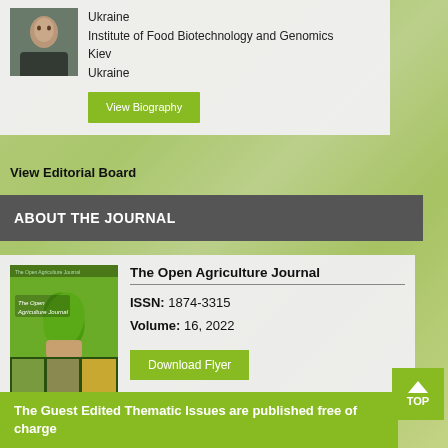[Figure (photo): Headshot photo of a person (male, appears older, wearing dark jacket)]
Ukraine
Institute of Food Biotechnology and Genomics
Kiev
Ukraine
View Biography
View Editorial Board
ABOUT THE JOURNAL
[Figure (photo): Cover of The Open Agriculture Journal - green background with hands holding plant and agricultural photos]
The Open Agriculture Journal
ISSN: 1874-3315
Volume: 16, 2022
Download Flyer
The Guest Edited Thematic Issues are published free of charge